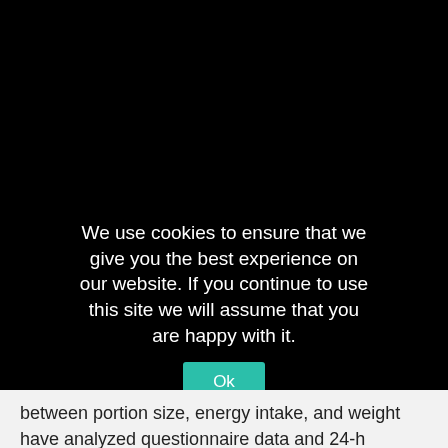We use cookies to ensure that we give you the best experience on our website. If you continue to use this site we will assume that you are happy with it.
Ok
between portion size, energy intake, and weight have analyzed questionnaire data and 24-h records. In this study, we assessed the onset of satiety using the water load test in